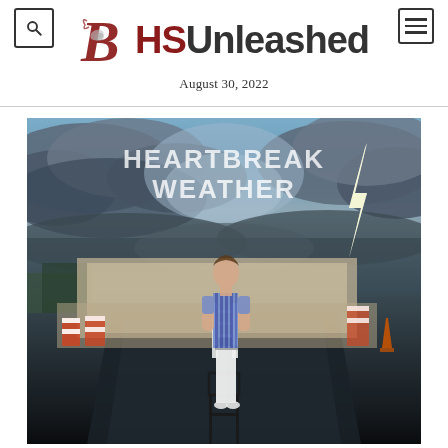BHSUnleashed — August 30, 2022
[Figure (photo): Album cover for 'Heartbreak Weather' by Niall Horan, showing a young man in a blue and white striped shirt and white pants standing on a dark road in front of construction barriers, with a dramatic stormy sky and lightning bolt in the background. The album title 'HEARTBREAK WEATHER' is displayed in large white text at the top.]